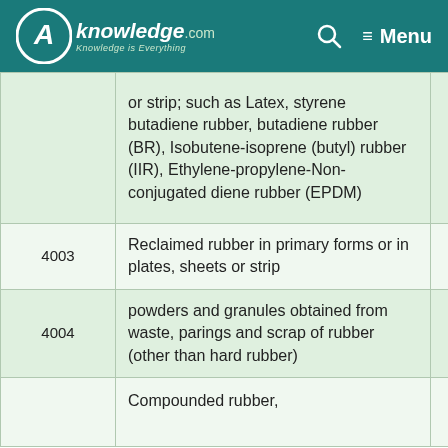AKnowledge.com — Menu
| Code | Description | Rate |
| --- | --- | --- |
|  | or strip; such as Latex, styrene butadiene rubber, butadiene rubber (BR), Isobutene-isoprene (butyl) rubber (IIR), Ethylene-propylene-Non-conjugated diene rubber (EPDM) |  |
| 4003 | Reclaimed rubber in primary forms or in plates, sheets or strip | 18 |
| 4004 | powders and granules obtained from waste, parings and scrap of rubber (other than hard rubber) | 18 |
|  | Compounded rubber, |  |